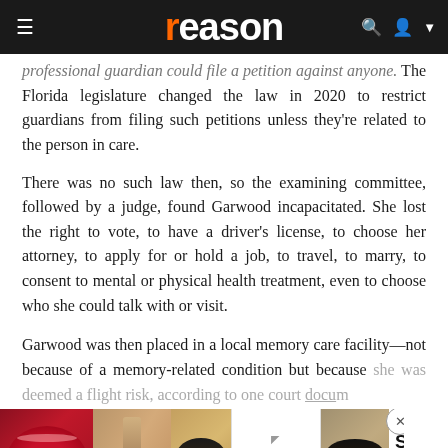reason
professional guardian could file a petition against anyone. The Florida legislature changed the law in 2020 to restrict guardians from filing such petitions unless they're related to the person in care.
There was no such law then, so the examining committee, followed by a judge, found Garwood incapacitated. She lost the right to vote, to have a driver's license, to choose her attorney, to apply for or hold a job, to travel, to marry, to consent to mental or physical health treatment, even to choose who she could talk with or visit.
Garwood was then placed in a local memory care facility—not because of a memory-related condition but because she was deemed a flight risk, according to one court document.
[Figure (other): ULTA Beauty advertisement banner with makeup imagery (lips, brush, eyes) and SHOP NOW call to action]
Garwood was held in the Palms of Longwood assisted